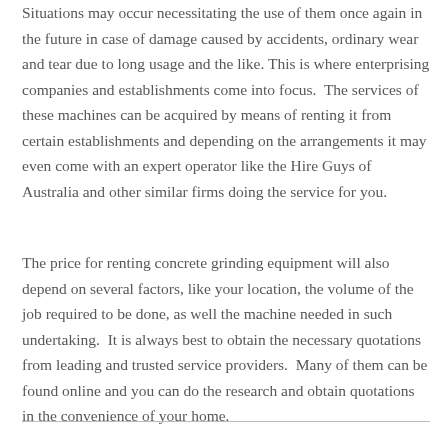Situations may occur necessitating the use of them once again in the future in case of damage caused by accidents, ordinary wear and tear due to long usage and the like. This is where enterprising companies and establishments come into focus.  The services of these machines can be acquired by means of renting it from certain establishments and depending on the arrangements it may even come with an expert operator like the Hire Guys of Australia and other similar firms doing the service for you.
The price for renting concrete grinding equipment will also depend on several factors, like your location, the volume of the job required to be done, as well the machine needed in such undertaking.  It is always best to obtain the necessary quotations from leading and trusted service providers.  Many of them can be found online and you can do the research and obtain quotations in the convenience of your home.